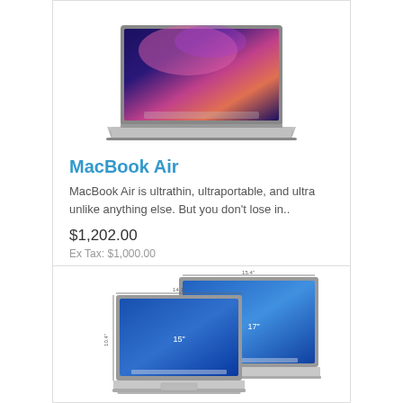[Figure (screenshot): MacBook Air laptop product image showing a thin laptop with colorful screen displaying aurora/nebula wallpaper]
MacBook Air
MacBook Air is ultrathin, ultraportable, and ultra unlike anything else. But you don't lose in..
$1,202.00
Ex Tax: $1,000.00
[Figure (screenshot): MacBook Pro product image showing two laptops (15 inch and 17 inch) side by side with dimension annotations and blue wallpaper]